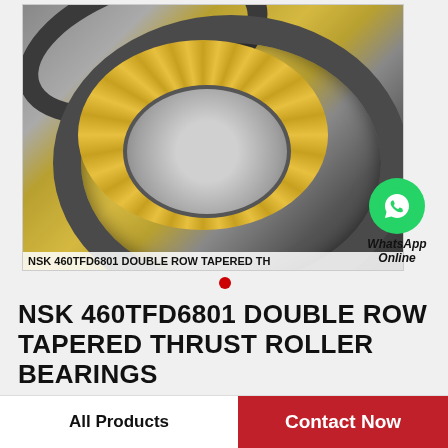[Figure (photo): NSK 460TFD6801 double row tapered thrust roller bearing — shows two bearing rings with gold/yellow roller cage against a light backdrop. Caption text at bottom: NSK 460TFD6801 DOUBLE ROW TAPERED TH]
[Figure (logo): WhatsApp green circle icon with phone handset, labeled 'WhatsApp Online']
NSK 460TFD6801 DOUBLE ROW TAPERED THRUST ROLLER BEARINGS
All Products
Contact Now